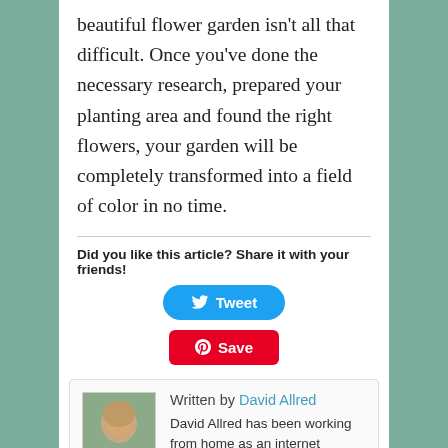beautiful flower garden isn't all that difficult. Once you've done the necessary research, prepared your planting area and found the right flowers, your garden will be completely transformed into a field of color in no time.
Did you like this article? Share it with your friends!
[Figure (other): Tweet button (Twitter share button, blue rounded rectangle with bird icon and 'Tweet' text)]
[Figure (other): Save button (Pinterest share button, red rounded rectangle with Pinterest icon and 'Save' text)]
[Figure (photo): Author headshot photo of David Allred, a bald man outdoors]
Written by David Allred
David Allred has been working from home as an internet